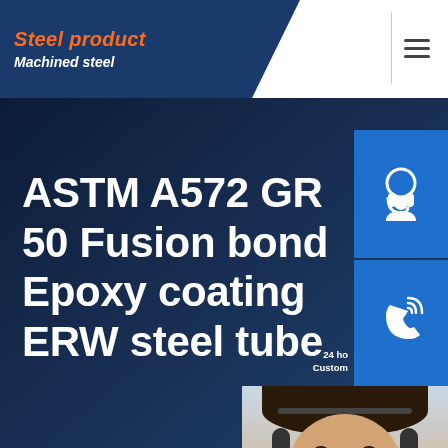Steel product / Machined steel
ASTM A572 GR 50 Fusion bond Epoxy coating ERW steel tube
[Figure (screenshot): Website sidebar with customer service icons: headset icon, phone icon, Skype icon, all on blue background]
[Figure (photo): Customer service representative wearing a headset, with chat widget below showing 'Hello, How may I help you?' and orange 'Chat Now' button]
Home  >News  >ASTM A572 GR 50 Fusion bond Epoxy coating ERW steel tube